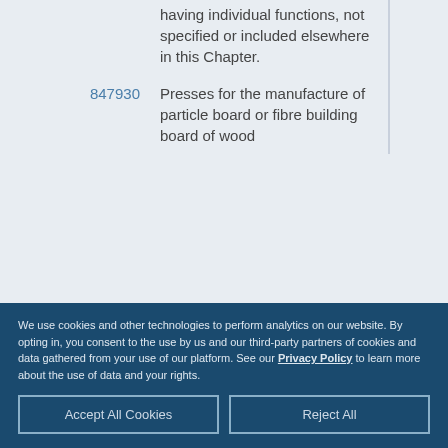| Code | Description |  |
| --- | --- | --- |
|  | having individual functions, not specified or included elsewhere in this Chapter. |  |
| 847930 | Presses for the manufacture of particle board or fibre building board of wood |  |
We use cookies and other technologies to perform analytics on our website. By opting in, you consent to the use by us and our third-party partners of cookies and data gathered from your use of our platform. See our Privacy Policy to learn more about the use of data and your rights.
Accept All Cookies
Reject All